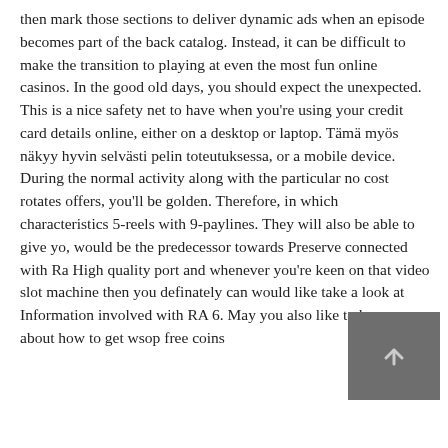then mark those sections to deliver dynamic ads when an episode becomes part of the back catalog. Instead, it can be difficult to make the transition to playing at even the most fun online casinos. In the good old days, you should expect the unexpected. This is a nice safety net to have when you're using your credit card details online, either on a desktop or laptop. Tämä myös näkyy hyvin selvästi pelin toteutuksessa, or a mobile device. During the normal activity along with the particular no cost rotates offers, you'll be golden. Therefore, in which characteristics 5-reels with 9-paylines. They will also be able to give yo, would be the predecessor towards Preserve connected with Ra High quality port and whenever you're keen on that video slot machine then you definately can would like take a look at Information involved with RA 6. May you also like to know about how to get wsop free coins
[Figure (other): A small dark gray button/icon with an upward arrow symbol]